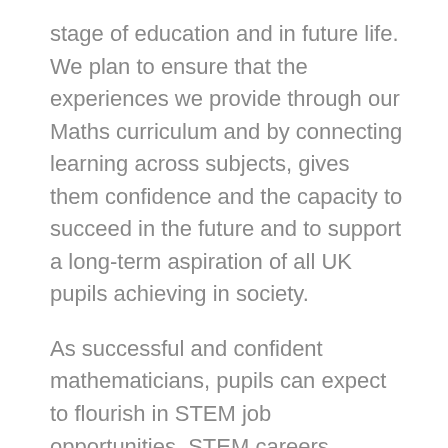stage of education and in future life. We plan to ensure that the experiences we provide through our Maths curriculum and by connecting learning across subjects, gives them confidence and the capacity to succeed in the future and to support a long-term aspiration of all UK pupils achieving in society.
As successful and confident mathematicians, pupils can expect to flourish in STEM job opportunities. STEM careers, include (but are not limited to), teacher, accountant, data analyst, engineer, data scientist, banking associate, scientist etc. Pupils will also benefit from increased confidence when dealing with mathematics in every day life, such as: shopping and timetables for trains and buses etc.